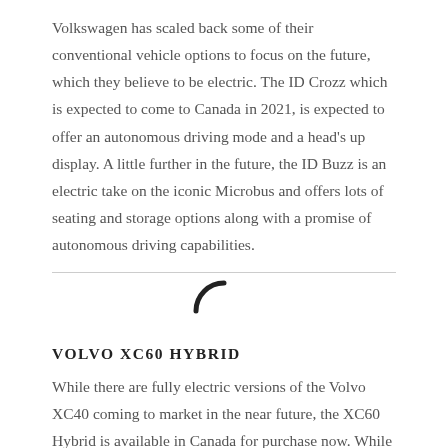Volkswagen has scaled back some of their conventional vehicle options to focus on the future, which they believe to be electric. The ID Crozz which is expected to come to Canada in 2021, is expected to offer an autonomous driving mode and a head's up display. A little further in the future, the ID Buzz is an electric take on the iconic Microbus and offers lots of seating and storage options along with a promise of autonomous driving capabilities.
[Figure (other): A loading spinner icon (partial circle/arc) centered on the page]
VOLVO XC60 HYBRID
While there are fully electric versions of the Volvo XC40 coming to market in the near future, the XC60 Hybrid is available in Canada for purchase now. While the Polestar engineered trim level commands a higher price, it does offer